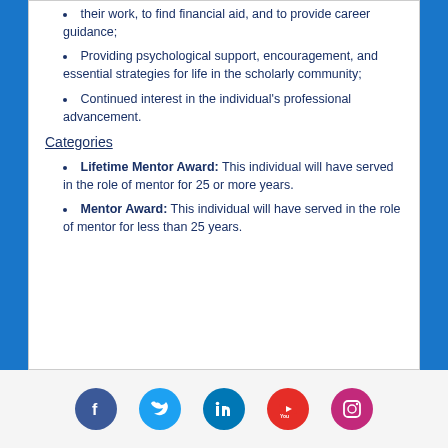Assisting students to present and publish their work, to find financial aid, and to provide career guidance;
Providing psychological support, encouragement, and essential strategies for life in the scholarly community;
Continued interest in the individual's professional advancement.
Categories
Lifetime Mentor Award: This individual will have served in the role of mentor for 25 or more years.
Mentor Award: This individual will have served in the role of mentor for less than 25 years.
[Figure (infographic): Social media icons row: Facebook (blue circle), Twitter (light blue circle), LinkedIn (dark blue circle), YouTube (red circle), Instagram (pink/magenta circle)]